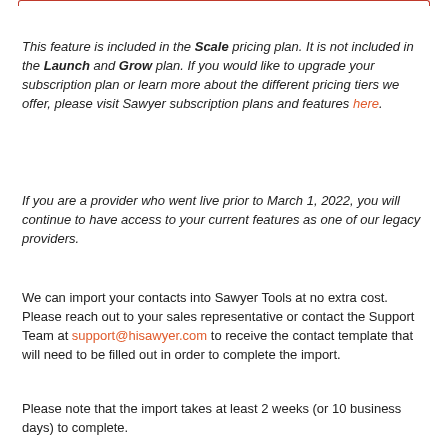This feature is included in the Scale pricing plan. It is not included in the Launch and Grow plan. If you would like to upgrade your subscription plan or learn more about the different pricing tiers we offer, please visit Sawyer subscription plans and features here.
If you are a provider who went live prior to March 1, 2022, you will continue to have access to your current features as one of our legacy providers.
We can import your contacts into Sawyer Tools at no extra cost. Please reach out to your sales representative or contact the Support Team at support@hisawyer.com to receive the contact template that will need to be filled out in order to complete the import.
Please note that the import takes at least 2 weeks (or 10 business days) to complete.